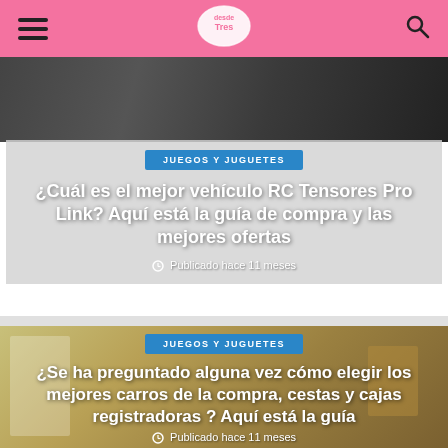DesdeTree - Navigation header with logo
[Figure (photo): Top image of RC vehicle or product, dark background]
JUEGOS Y JUGUETES
¿Cuál es el mejor vehículo RC Tensores Pro Link? Aquí está la guía de compra y las mejores ofertas
Publicado hace 11 meses
[Figure (photo): Image of toy shopping carts, shelving units in yellow and white]
JUEGOS Y JUGUETES
¿Se ha preguntado alguna vez cómo elegir los mejores carros de la compra, cestas y cajas registradoras ? Aquí está la guía
Publicado hace 11 meses